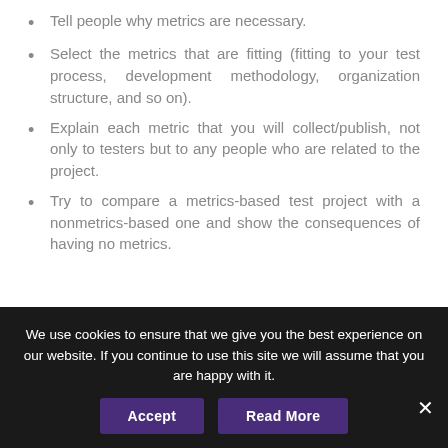Tell people why metrics are necessary.
Select the metrics that are fitting (fitting to your test process, development methodology, organization structure, and so on).
Explain each metric that you will collect/publish, not only to testers but to any people who are related to the project.
Try to compare a metrics-based test project with a nonmetrics-based one and show the consequences of having no metrics.
We use cookies to ensure that we give you the best experience on our website. If you continue to use this site we will assume that you are happy with it.